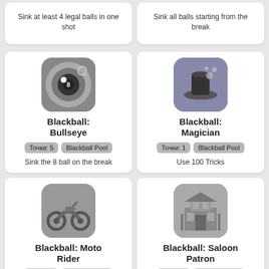Sink at least 4 legal balls in one shot
Sink all balls starting from the break
[Figure (illustration): App icon for Blackball Bullseye - 8ball with target/lens design, grayscale]
Blackball: Bullseye
Точки: 5  Blackball Pool
Sink the 8 ball on the break
[Figure (illustration): App icon for Blackball Magician - top hat with stars, grayscale]
Blackball: Magician
Точки: 1  Blackball Pool
Use 100 Tricks
[Figure (illustration): App icon for Blackball Moto Rider - motorcycle, grayscale]
Blackball: Moto Rider
Точки: 1  Blackball Pool
[Figure (illustration): App icon for Blackball Saloon Patron - building/saloon, grayscale]
Blackball: Saloon Patron
Точки: 1  Blackball Pool